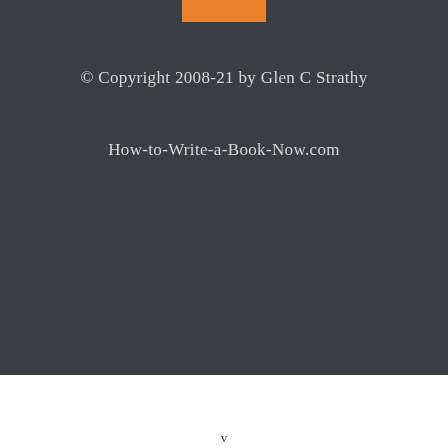[Figure (other): Orange rectangular bar at top center of dark background section]
© Copyright 2008-21 by Glen C Strathy
How-to-Write-a-Book-Now.com
v